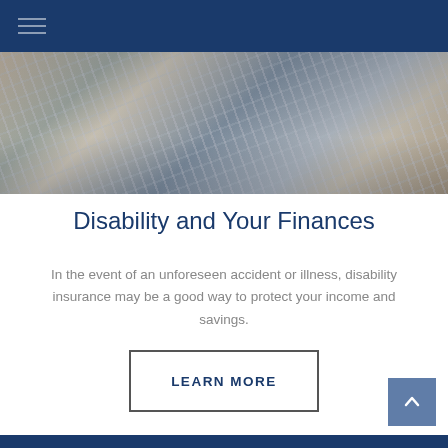[Figure (photo): Close-up photograph of bicycle or wheelchair wheel spokes and frame components]
Disability and Your Finances
In the event of an unforeseen accident or illness, disability insurance may be a good way to protect your income and savings.
LEARN MORE